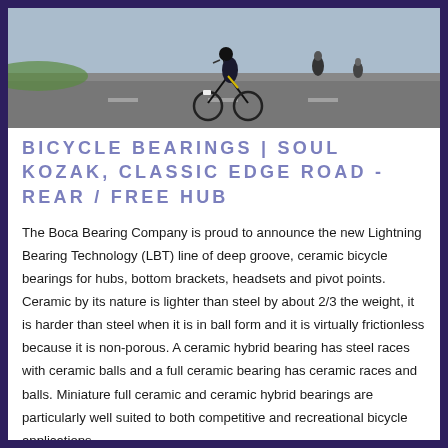[Figure (photo): Cyclists racing on a road, viewed from front/low angle, showing bikes and riders in motion on asphalt.]
BICYCLE BEARINGS | SOUL KOZAK, CLASSIC EDGE ROAD - REAR / FREE HUB
The Boca Bearing Company is proud to announce the new Lightning Bearing Technology (LBT) line of deep groove, ceramic bicycle bearings for hubs, bottom brackets, headsets and pivot points. Ceramic by its nature is lighter than steel by about 2/3 the weight, it is harder than steel when it is in ball form and it is virtually frictionless because it is non-porous. A ceramic hybrid bearing has steel races with ceramic balls and a full ceramic bearing has ceramic races and balls. Miniature full ceramic and ceramic hybrid bearings are particularly well suited to both competitive and recreational bicycle applications.